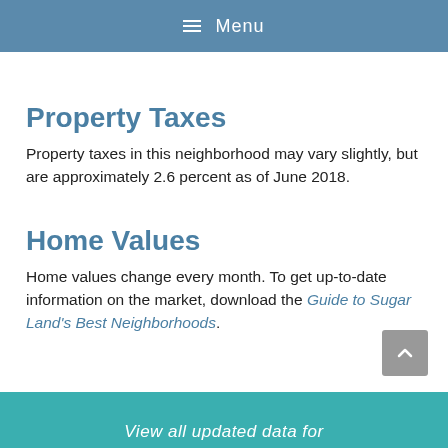≡ Menu
Property Taxes
Property taxes in this neighborhood may vary slightly, but are approximately 2.6 percent as of June 2018.
Home Values
Home values change every month. To get up-to-date information on the market, download the Guide to Sugar Land's Best Neighborhoods.
View all updated data for...